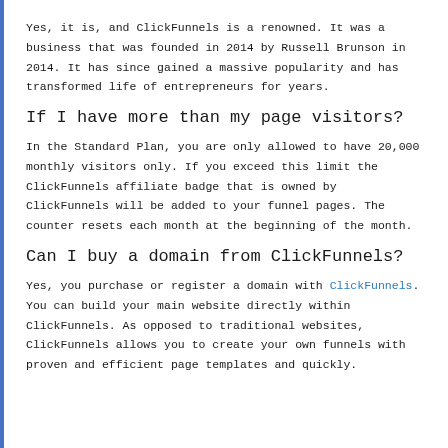Yes, it is, and ClickFunnels is a renowned. It was a business that was founded in 2014 by Russell Brunson in 2014. It has since gained a massive popularity and has transformed life of entrepreneurs for years.
If I have more than my page visitors?
In the Standard Plan, you are only allowed to have 20,000 monthly visitors only. If you exceed this limit the ClickFunnels affiliate badge that is owned by ClickFunnels will be added to your funnel pages. The counter resets each month at the beginning of the month.
Can I buy a domain from ClickFunnels?
Yes, you purchase or register a domain with ClickFunnels. You can build your main website directly within ClickFunnels. As opposed to traditional websites, ClickFunnels allows you to create your own funnels with proven and efficient page templates and quickly.